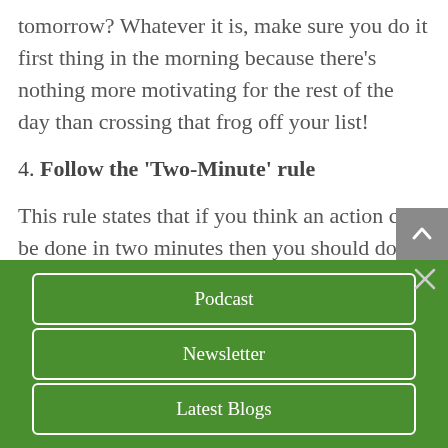tomorrow? Whatever it is, make sure you do it first thing in the morning because there’s nothing more motivating for the rest of the day than crossing that frog off your list!
4. Follow the ‘Two-Minute’ rule
This rule states that if you think an action can be done in two minutes then you should do it immediately because it’ll take
Podcast
Newsletter
Latest Blogs